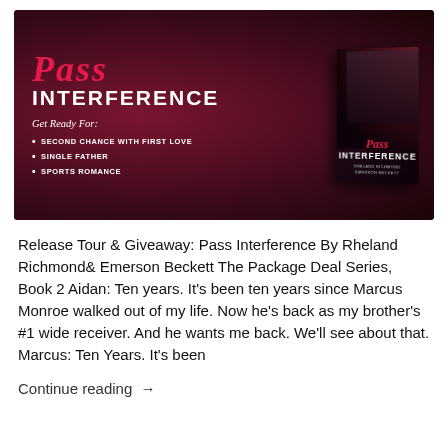[Figure (illustration): Book promotional banner for 'Pass Interference' by Rheland Richmond & Emerson Beckett. Dark red/maroon background with title text 'PASS INTERFERENCE' in white and red, cursive subtitle 'Get Ready For:', bullet points listing 'SECOND CHANCE WITH FIRST LOVE', 'SINGLE FATHER', 'SPORTS ROMANCE'. A 3D book cover on the right side showing a man in a suit.]
Release Tour & Giveaway: Pass Interference By Rheland Richmond& Emerson Beckett The Package Deal Series, Book 2 Aidan: Ten years. It's been ten years since Marcus Monroe walked out of my life. Now he's back as my brother's #1 wide receiver. And he wants me back. We'll see about that. Marcus: Ten Years. It's been
Continue reading →